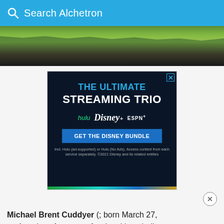Search Alchetron
[Figure (photo): Baseball field hero image strip showing green grass and dark foreground]
[Figure (infographic): Advertisement: THE ULTIMATE STREAMING TRIO - hulu, Disney+, ESPN+. GET THE DISNEY BUNDLE. Incl. Hulu (ad-supported) or Hulu (No Ads). Access content from each service separately. ©2021 Disney and its related entities]
Michael Brent Cuddyer (; born March 27, an American former professional baseball